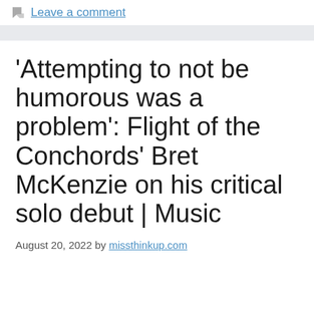Leave a comment
'Attempting to not be humorous was a problem': Flight of the Conchords' Bret McKenzie on his critical solo debut | Music
August 20, 2022 by missthinkup.com